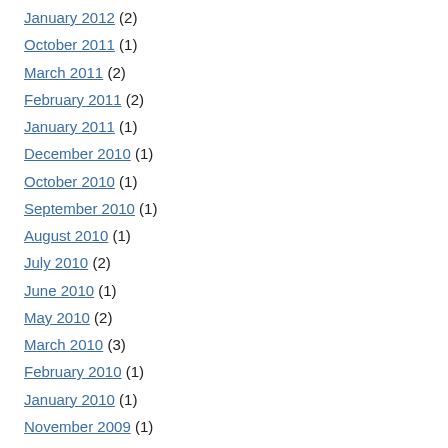January 2012 (2)
October 2011 (1)
March 2011 (2)
February 2011 (2)
January 2011 (1)
December 2010 (1)
October 2010 (1)
September 2010 (1)
August 2010 (1)
July 2010 (2)
June 2010 (1)
May 2010 (2)
March 2010 (3)
February 2010 (1)
January 2010 (1)
November 2009 (1)
October 2009 (2)
September 2009 (2)
July 2009 (1)